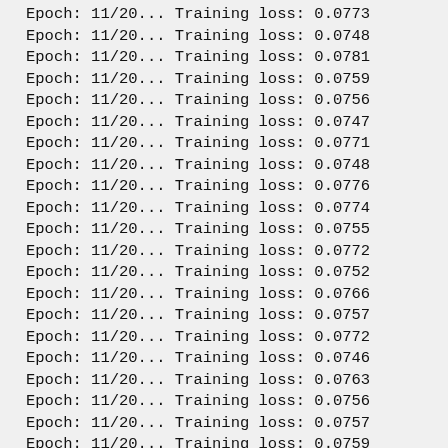Epoch: 11/20... Training loss: 0.0773
Epoch: 11/20... Training loss: 0.0748
Epoch: 11/20... Training loss: 0.0781
Epoch: 11/20... Training loss: 0.0759
Epoch: 11/20... Training loss: 0.0756
Epoch: 11/20... Training loss: 0.0747
Epoch: 11/20... Training loss: 0.0771
Epoch: 11/20... Training loss: 0.0748
Epoch: 11/20... Training loss: 0.0776
Epoch: 11/20... Training loss: 0.0774
Epoch: 11/20... Training loss: 0.0755
Epoch: 11/20... Training loss: 0.0772
Epoch: 11/20... Training loss: 0.0752
Epoch: 11/20... Training loss: 0.0766
Epoch: 11/20... Training loss: 0.0757
Epoch: 11/20... Training loss: 0.0772
Epoch: 11/20... Training loss: 0.0746
Epoch: 11/20... Training loss: 0.0763
Epoch: 11/20... Training loss: 0.0756
Epoch: 11/20... Training loss: 0.0757
Epoch: 11/20... Training loss: 0.0759